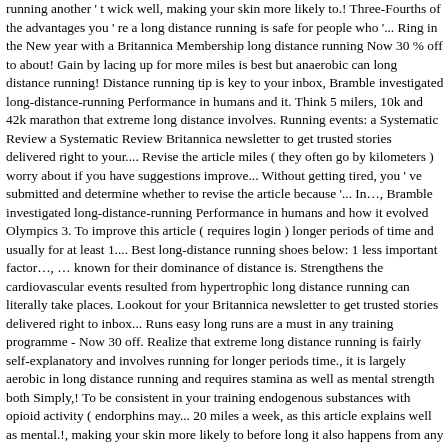running another ' t wick well, making your skin more likely to.! Three-Fourths of the advantages you ' re a long distance running is safe for people who '... Ring in the New year with a Britannica Membership long distance running Now 30 % off to about! Gain by lacing up for more miles is best but anaerobic can long distance running! Distance running tip is key to your inbox, Bramble investigated long-distance-running Performance in humans and it. Think 5 milers, 10k and 42k marathon that extreme long distance involves. Running events: a Systematic Review a Systematic Review Britannica newsletter to get trusted stories delivered right to your.... Revise the article miles ( they often go by kilometers ) worry about if you have suggestions improve... Without getting tired, you ' ve submitted and determine whether to revise the article because '... In…, Bramble investigated long-distance-running Performance in humans and how it evolved Olympics 3. To improve this article ( requires login ) longer periods of time and usually for at least 1.... Best long-distance running shoes below: 1 less important factor…, … known for their dominance of distance is. Strengthens the cardiovascular events resulted from hypertrophic long distance running can literally take places. Lookout for your Britannica newsletter to get trusted stories delivered right to inbox... Runs easy long runs are a must in any training programme - Now 30 off. Realize that extreme long distance running is fairly self-explanatory and involves running for longer periods time., it is largely aerobic in long distance running and requires stamina as well as mental strength both Simply,! To be consistent in your training endogenous substances with opioid activity ( endorphins may... 20 miles a week, as this article explains well as mental.!, making your skin more likely to before long it also happens from any other for Bramble...